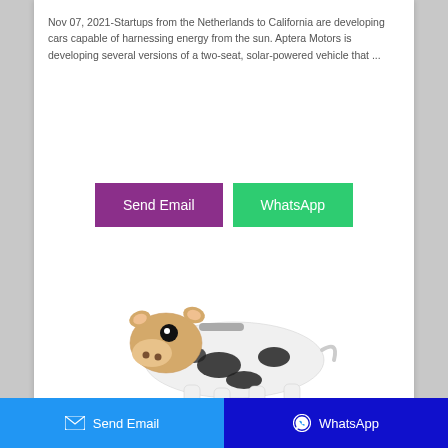Nov 07, 2021-Startups from the Netherlands to California are developing cars capable of harnessing energy from the sun. Aptera Motors is developing several versions of a two-seat, solar-powered vehicle that ...
[Figure (other): Two buttons side by side: a purple 'Send Email' button and a green 'WhatsApp' button]
[Figure (photo): A plush toy cow stuffed animal lying down, black and white spotted pattern with a tan/beige face]
Send Email   WhatsApp